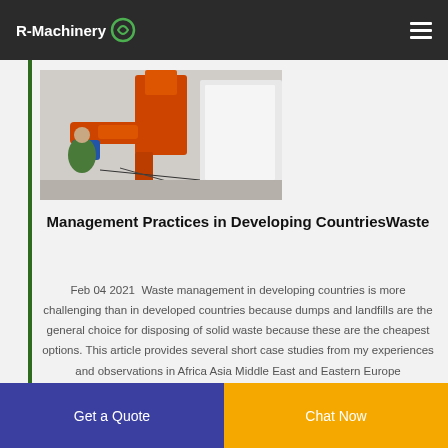R-Machinery
[Figure (photo): Industrial machinery photo showing orange dust collector pipes and white equipment with a worker in green]
Management Practices in Developing CountriesWaste
Feb 04 2021  Waste management in developing countries is more challenging than in developed countries because dumps and landfills are the general choice for disposing of solid waste because these are the cheapest options. This article provides several short case studies from my experiences and observations in Africa Asia Middle East and Eastern Europe
Get a Quote
Chat Now